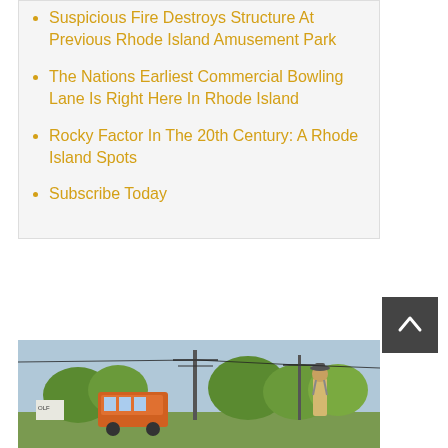Suspicious Fire Destroys Structure At Previous Rhode Island Amusement Park
The Nations Earliest Commercial Bowling Lane Is Right Here In Rhode Island
Rocky Factor In The 20th Century: A Rhode Island Spots
Subscribe Today
[Figure (photo): Vintage illustration or colorized photograph of an amusement park scene with a man in suspenders and hat, a trolley or ride vehicle, utility poles with wires, and lush trees in the background.]